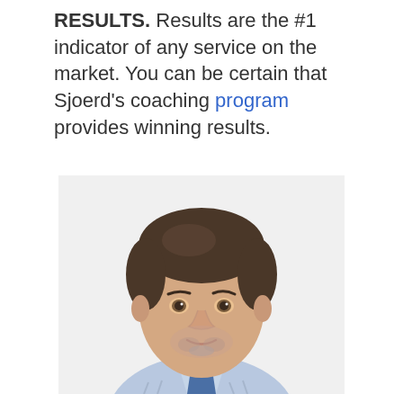RESULTS. Results are the #1 indicator of any service on the market. You can be certain that Sjoerd's coaching program provides winning results.
[Figure (photo): Professional headshot of a middle-aged man with dark hair, wearing a blue and white striped collared shirt, against a white background.]